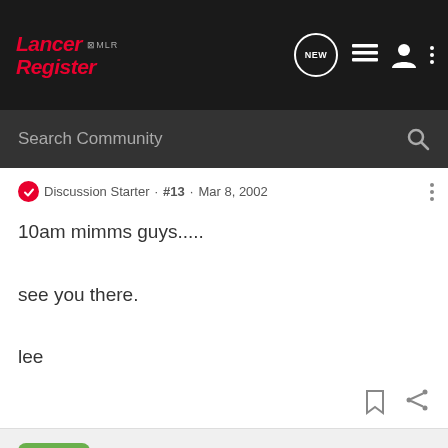Lancer Register MLR - Navigation bar with Search Community
Discussion Starter · #13 · Mar 8, 2002
10am mimms guys.....

see you there.

lee
Guest ·
Discussion Starter · #14 · Mar 8, 2002